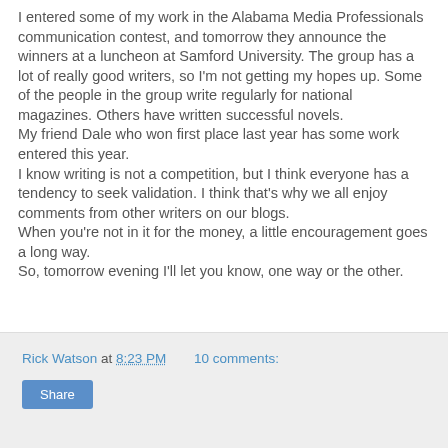I entered some of my work in the Alabama Media Professionals communication contest, and tomorrow they announce the winners at a luncheon at Samford University. The group has a lot of really good writers, so I'm not getting my hopes up. Some of the people in the group write regularly for national magazines. Others have written successful novels.
My friend Dale who won first place last year has some work entered this year.
I know writing is not a competition, but I think everyone has a tendency to seek validation. I think that's why we all enjoy comments from other writers on our blogs.
When you're not in it for the money, a little encouragement goes a long way.
So, tomorrow evening I'll let you know, one way or the other.
Rick Watson at 8:23 PM   10 comments:   Share